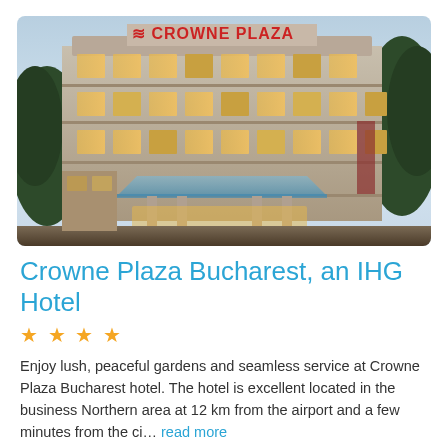[Figure (photo): Exterior photo of the Crowne Plaza Bucharest hotel building at dusk/evening. The building is multi-storey with a prominent 'CROWNE PLAZA' sign lit in red on the roof. Trees are visible on both sides, and the entrance canopy is illuminated.]
Crowne Plaza Bucharest, an IHG Hotel
★★★★
Enjoy lush, peaceful gardens and seamless service at Crowne Plaza Bucharest hotel. The hotel is excellent located in the business Northern area at 12 km from the airport and a few minutes from the ci… read more